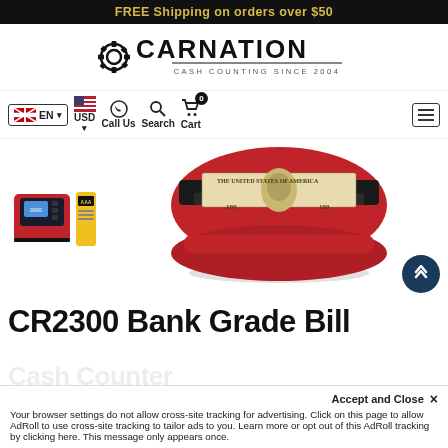FREE Shipping on orders over $50
[Figure (logo): Carnation Cash Counting Since 2004 logo with gear icon]
[Figure (screenshot): Navigation bar with EN language selector, USD currency, Call Us, Search, Cart (0), and hamburger menu]
[Figure (photo): Product images: thumbnail of red CR2300 bill counter with batteries, and main hero shot of red CR2300 bill counter feeding $100 bills]
CR2300 Bank Grade Bill
Your browser settings do not allow cross-site tracking for advertising. Click on this page to allow AdRoll to use cross-site tracking to tailor ads to you. Learn more or opt out of this AdRoll tracking by clicking here. This message only appears once.